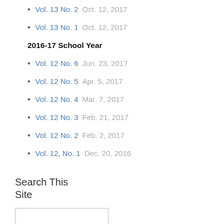Vol. 13 No. 2   Oct. 12, 2017
Vol. 13 No. 1   Oct. 12, 2017
2016-17 School Year
Vol. 12 No. 6   Jun. 23, 2017
Vol. 12 No. 5   Apr. 5, 2017
Vol. 12 No. 4   Mar. 7, 2017
Vol. 12 No. 3   Feb. 21, 2017
Vol. 12 No. 2   Feb. 2, 2017
Vol. 12, No. 1   Dec. 20, 2016
Search This Site